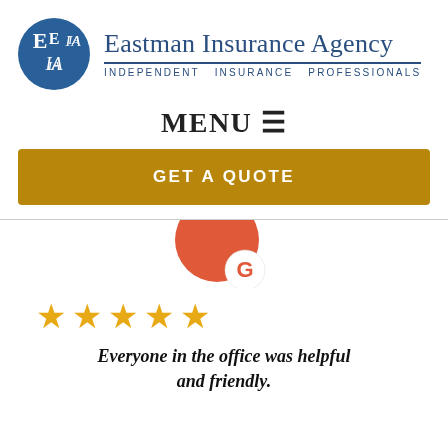[Figure (logo): Eastman Insurance Agency logo: blue circle with EIA letters and agency name with tagline INDEPENDENT INSURANCE PROFESSIONALS]
MENU ☰
GET A QUOTE
[Figure (logo): Google review icon: red/orange circle with white G badge]
[Figure (infographic): Five gold stars rating]
Everyone in the office was helpful and friendly.